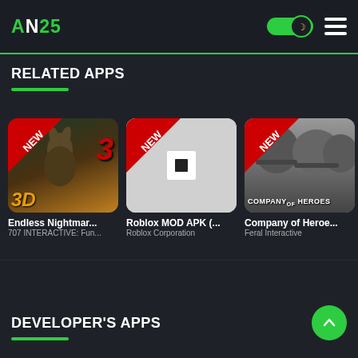AN25 header with dark mode toggle and menu
RELATED APPS
[Figure (screenshot): App thumbnail for Endless Nightmare 3D with NEW ribbon badge]
Endless Nightmar...
707 INTERACTIVE: Fun...
[Figure (screenshot): Roblox MOD APK app thumbnail with NEW ribbon badge]
Roblox MOD APK (...
Roblox Corporation
[Figure (screenshot): Company of Heroes app thumbnail with NEW ribbon badge]
Company of Heroe...
Feral Interactive
DEVELOPER'S APPS